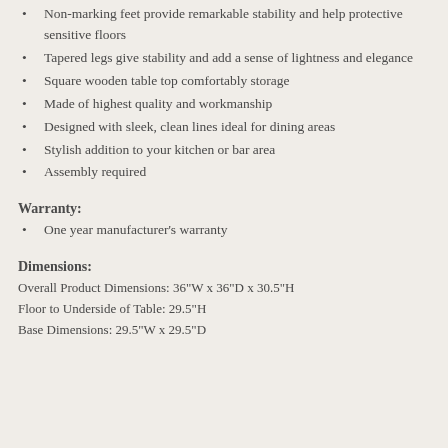Non-marking feet provide remarkable stability and help protective sensitive floors
Tapered legs give stability and add a sense of lightness and elegance
Square wooden table top comfortably storage
Made of highest quality and workmanship
Designed with sleek, clean lines ideal for dining areas
Stylish addition to your kitchen or bar area
Assembly required
Warranty:
One year manufacturer's warranty
Dimensions:
Overall Product Dimensions: 36"W x 36"D x 30.5"H
Floor to Underside of Table: 29.5"H
Base Dimensions: 29.5"W x 29.5"D